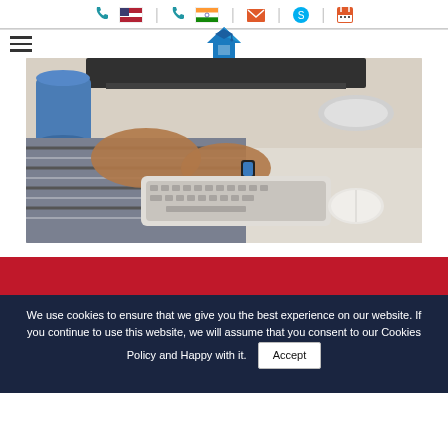Navigation bar with phone icons (US flag, India flag), email icon, Skype icon, calendar icon, hamburger menu, and house/education logo
[Figure (photo): Person typing on a white Mac keyboard with mouse on a desk, blue coffee mug and monitor visible in background — an office/work setting]
We use cookies to ensure that we give you the best experience on our website. If you continue to use this website, we will assume that you consent to our Cookies Policy and Happy with it.